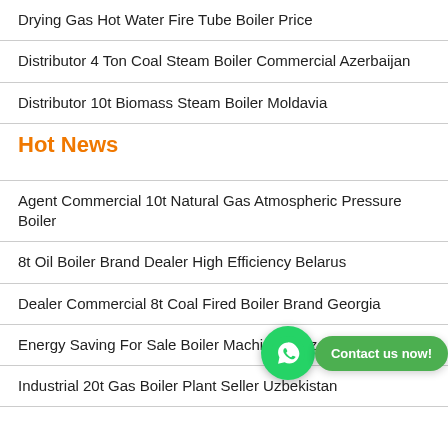Drying Gas Hot Water Fire Tube Boiler Price
Distributor 4 Ton Coal Steam Boiler Commercial Azerbaijan
Distributor 10t Biomass Steam Boiler Moldavia
Hot News
Agent Commercial 10t Natural Gas Atmospheric Pressure Boiler
8t Oil Boiler Brand Dealer High Efficiency Belarus
Dealer Commercial 8t Coal Fired Boiler Brand Georgia
Energy Saving For Sale Boiler Machine 6t Azerbaijan
Industrial 20t Gas Boiler Plant Seller Uzbekistan